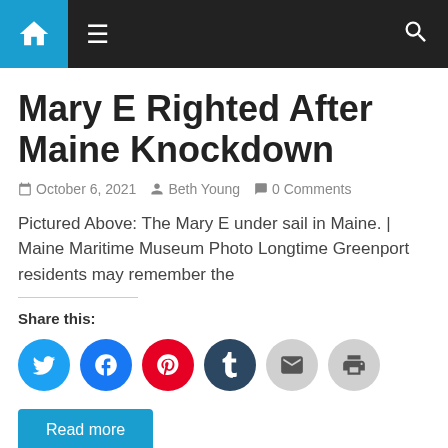Navigation bar with home, menu, and search icons
Mary E Righted After Maine Knockdown
October 6, 2021  Beth Young  0 Comments
Pictured Above: The Mary E under sail in Maine. | Maine Maritime Museum Photo Longtime Greenport residents may remember the
Share this:
[Figure (infographic): Social share buttons: Twitter (blue), Facebook (blue), Pinterest (red), Tumblr (dark blue), Email (gray), Print (gray)]
Read more